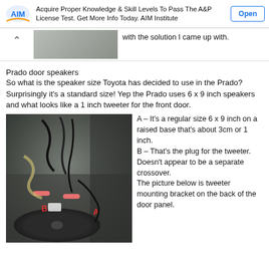[Figure (screenshot): Advertisement banner for AIM Institute showing logo, text about A&P License Test preparation, and Open button]
with the solution I came up with.
Prado door speakers
So what is the speaker size Toyota has decided to use in the Prado?  Surprisingly it's a standard size!  Yep the Prado uses 6 x 9 inch speakers and what looks like a 1 inch tweeter for the front door.
[Figure (photo): Photo of Prado door interior showing speaker wiring and connections, with labels A and B marking specific components]
A – It's a regular size 6 x 9 inch on a raised base that's about 3cm or 1 inch.
B – That's the plug for the tweeter.  Doesn't appear to be a separate crossover.
The picture below is tweeter mounting bracket on the back of the door panel.